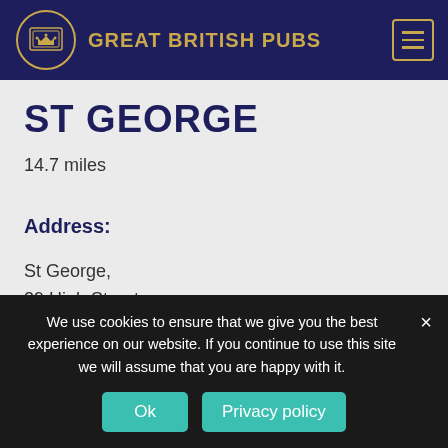GREAT BRITISH PUBS
ST GEORGE
14.7 miles
Address:
St George,
29 High Street,
Portslade,
We use cookies to ensure that we give you the best experience on our website. If you continue to use this site we will assume that you are happy with it.